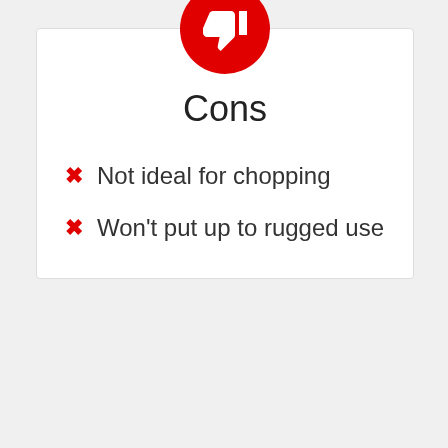[Figure (illustration): Red circle with white thumbs-down icon centered at top of card]
Cons
Not ideal for chopping
Won't put up to rugged use